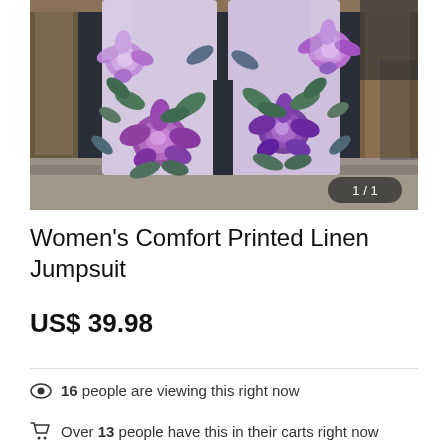[Figure (photo): A floral-printed linen jumpsuit hanging in a rustic window frame. The fabric features large purple and pink roses with green and blue-green leaves on a light lavender background. The window has weathered wood and stone surroundings.]
Women's Comfort Printed Linen Jumpsuit
US$ 39.98
16 people are viewing this right now
Over 13 people have this in their carts right now